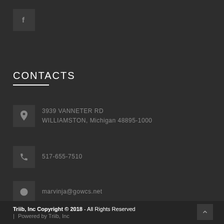[Figure (logo): Facebook icon button, small square with letter f]
CONTACTS
3939 VANNETER RD
WILLIAMSTON, Michigan 48895-1000
517-655-7510
marvinja@gowcs.net
Triib, Inc Copyright © 2018 - All Rights Reserved
| Powered by Triib, Inc